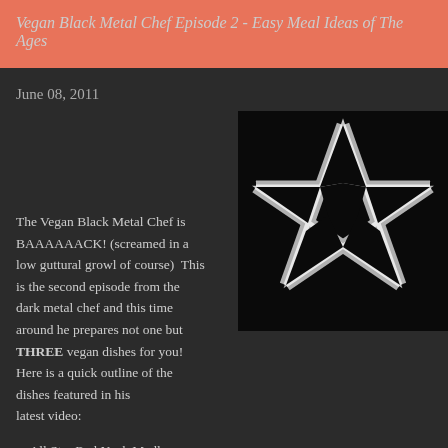Vegan Black Metal Chef Episode 2 - Easy Meal Ideas of The Ages
June 08, 2011
The Vegan Black Metal Chef is BAAAAAACK! (screamed in a low guttural growl of course)  This is the second episode from the dark metal chef and this time around he prepares not one but THREE vegan dishes for you!  Here is a quick outline of the dishes featured in his latest video:
[Figure (illustration): A metallic silver pentagram star on a black background]
All Star Red Neck Medley